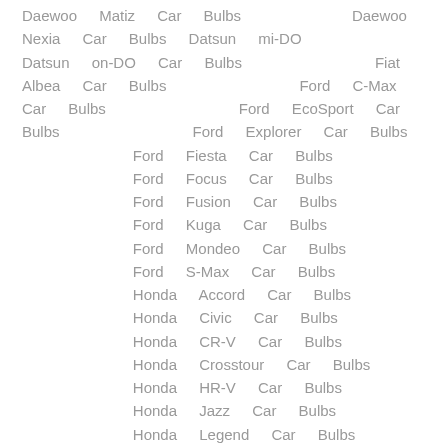Daewoo Matiz Car Bulbs Daewoo Nexia Car Bulbs Datsun mi-DO Datsun on-DO Car Bulbs Fiat Albea Car Bulbs Ford C-Max Car Bulbs Ford EcoSport Car Bulbs Ford Explorer Car Bulbs Ford Fiesta Car Bulbs Ford Focus Car Bulbs Ford Fusion Car Bulbs Ford Kuga Car Bulbs Ford Mondeo Car Bulbs Ford S-Max Car Bulbs Honda Accord Car Bulbs Honda Civic Car Bulbs Honda CR-V Car Bulbs Honda Crosstour Car Bulbs Honda HR-V Car Bulbs Honda Jazz Car Bulbs Honda Legend Car Bulbs Hyundai Accent Car Bulbs Hyundai Coupe Car Bulbs Hyundai Creta Car Bulbs Hyundai Elantra Car Bulbs Hyundai Galloper Car Bulbs Hyundai Getz Car Bulbs Hyundai Grandeur Car Bulbs Hyundai i20 Car Bulbs Hyundai i30 Car Bulbs Hyundai i40 Car Bulbs Hyundai ix35 Car